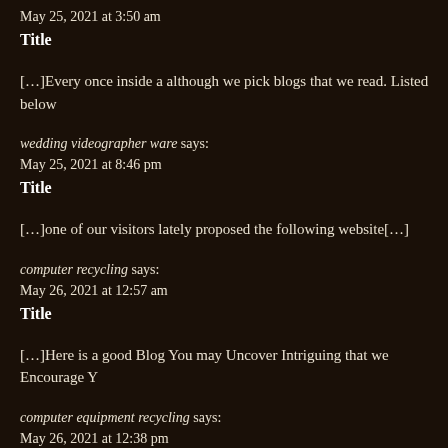May 25, 2021 at 3:50 am
Title
[…]Every once inside a although we pick blogs that we read. Listed below
wedding videographer ware says:
May 25, 2021 at 8:46 pm
Title
[…]one of our visitors lately proposed the following website[…]
computer recycling says:
May 26, 2021 at 12:57 am
Title
[…]Here is a good Blog You may Uncover Intriguing that we Encourage Y
computer equipment recycling says:
May 26, 2021 at 12:38 pm
Title
[…]just beneath, are many completely not related websites to ours, having
69 Chain says:
May 26, 2021 at 1:37 pm
Title
[…]ah you a large fan of linking to bloggers that I adore but do no get